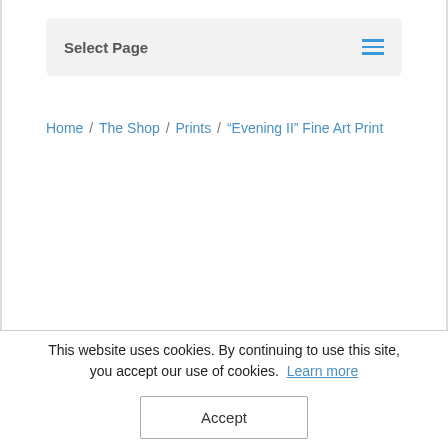Select Page
Home / The Shop / Prints / “Evening II” Fine Art Print
This website uses cookies. By continuing to use this site, you accept our use of cookies. Learn more
Accept